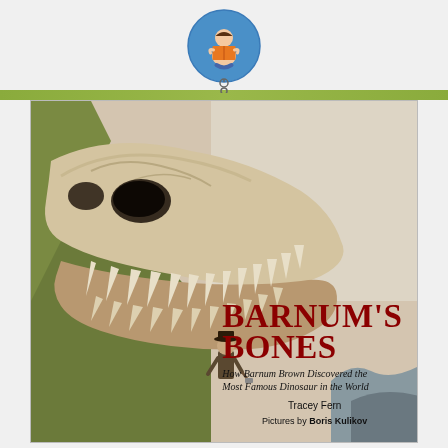[Figure (logo): Circular blue logo with an illustrated child sitting cross-legged reading an orange book, with small circular elements below suggesting a chain or links]
[Figure (illustration): Book cover illustration showing a large T-Rex skull fossil emerging from rocky terrain with a man in a hat standing near the lower jaw. The cover shows the book title 'Barnum's Bones: How Barnum Brown Discovered the Most Famous Dinosaur in the World' by Tracey Fern, Pictures by Boris Kulikov.]
BARNUM'S BONES
How Barnum Brown Discovered the Most Famous Dinosaur in the World
Tracey Fern
Pictures by Boris Kulikov